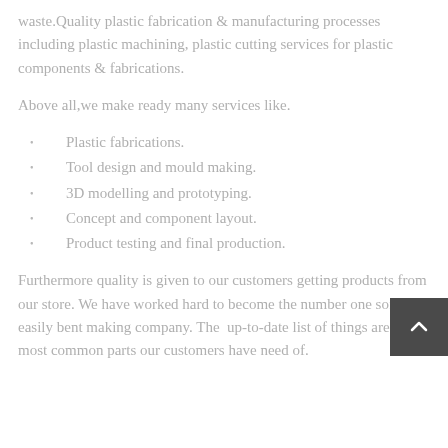waste.Quality plastic fabrication & manufacturing processes including plastic machining, plastic cutting services for plastic components & fabrications.
Above all,we make ready many services like.
Plastic fabrications.
Tool design and mould making.
3D modelling and prototyping.
Concept and component layout.
Product testing and final production.
Furthermore quality is given to our customers getting products from our store. We have worked hard to become the number one soft, easily bent making company. The  up-to-date list of things are the most common parts our customers have need of.